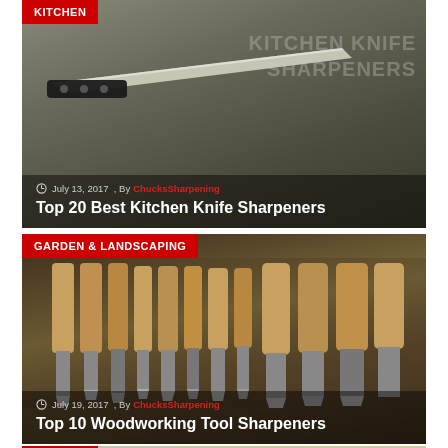[Figure (photo): Kitchen knife on dark background with text overlay 'KITCHEN KNIFE SHARPENERS']
KITCHEN
July 13, 2017 , By ChucksSharpening
Top 20 Best Kitchen Knife Sharpeners
[Figure (photo): Set of woodworking chisels with wooden handles in a wooden case]
GARDEN & LANDSCAPING
July 19, 2017 , By ChucksSharpening
Top 10 Woodworking Tool Sharpeners
[Figure (photo): Partial view of third card showing KITCHEN badge and tomato/food items]
KITCHEN